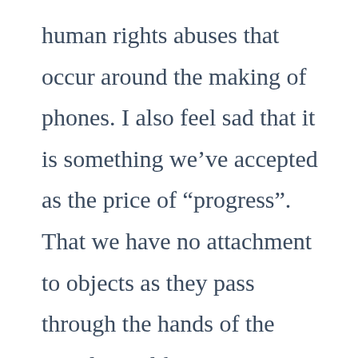human rights abuses that occur around the making of phones. I also feel sad that it is something we've accepted as the price of “progress”. That we have no attachment to objects as they pass through the hands of the population like pictures in a newsfeed, giving us some fleeting moments of